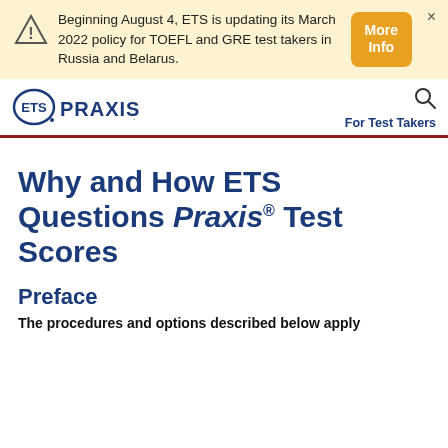Beginning August 4, ETS is updating its March 2022 policy for TOEFL and GRE test takers in Russia and Belarus.
[Figure (logo): ETS Praxis logo with oval ETS mark and PRAXIS text]
For Test Takers
Why and How ETS Questions Praxis® Test Scores
Preface
The procedures and options described below apply